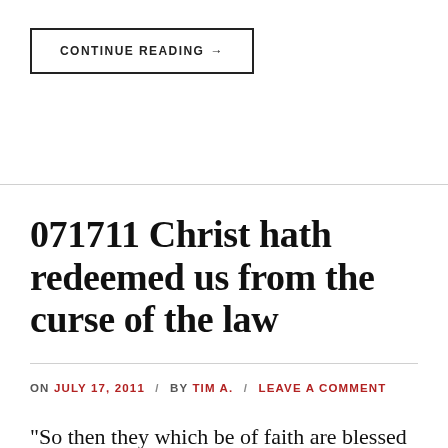CONTINUE READING →
071711 Christ hath redeemed us from the curse of the law
ON JULY 17, 2011 / BY TIM A. / LEAVE A COMMENT
"So then they which be of faith are blessed with faithful Abraham.  For as many as are of the works of the law are under the curse